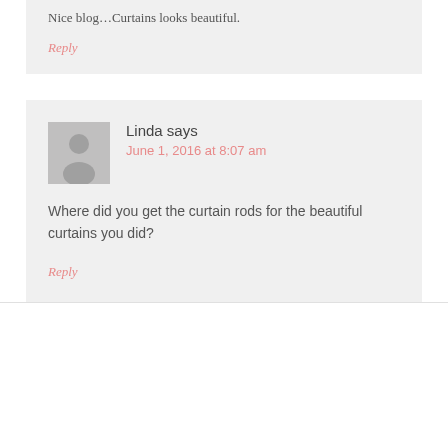Nice blog...Curtains looks beautiful.
Reply
Linda says
June 1, 2016 at 8:07 am
Where did you get the curtain rods for the beautiful curtains you did?
Reply